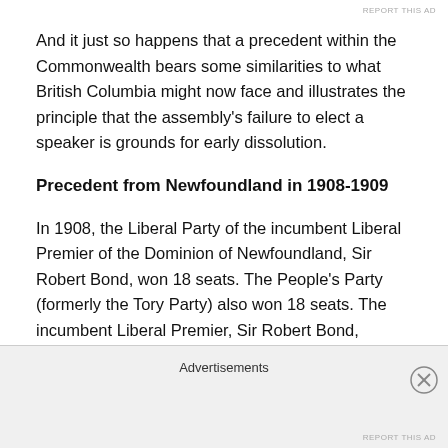REPORT THIS AD
And it just so happens that a precedent within the Commonwealth bears some similarities to what British Columbia might now face and illustrates the principle that the assembly's failure to elect a speaker is grounds for early dissolution.
Precedent from Newfoundland in 1908-1909
In 1908, the Liberal Party of the incumbent Liberal Premier of the Dominion of Newfoundland, Sir Robert Bond, won 18 seats. The People’s Party (formerly the Tory Party) also won 18 seats. The incumbent Liberal Premier, Sir Robert Bond, remained in office and met the new assembly —
Advertisements
REPORT THIS AD